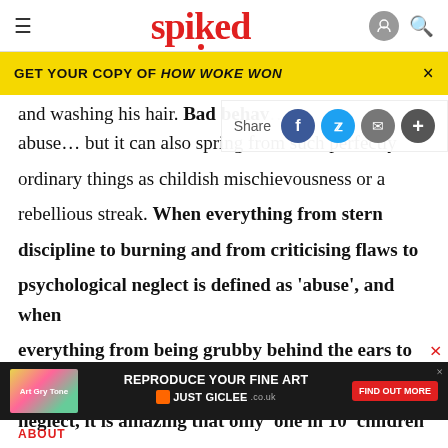spiked
GET YOUR COPY OF HOW WOKE WON
and washing his hair. Bad behav… abuse… but it can also spring from such perfectly ordinary things as childish mischievousness or a rebellious streak. When everything from stern discipline to burning and from criticising flaws to psychological neglect is defined as 'abuse', and when everything from being grubby behind the ears to naughty in class is taken as a potential indicator of neglect, it is amazing that only 'one in 10' children falls in…
REPRODUCE YOUR FINE ART JUST GICLEE
ABOUT